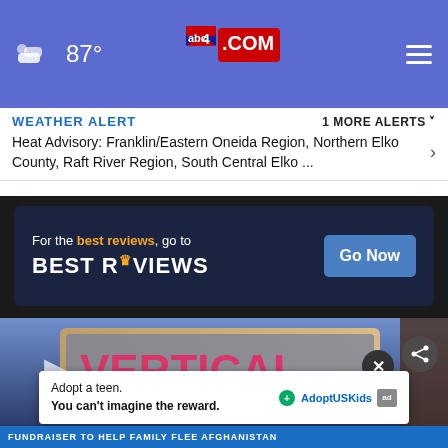87° | abc4.COM
WEATHER ALERT   1 MORE ALERTS ˅
Heat Advisory: Franklin/Eastern Oneida Region, Northern Elko County, Raft River Region, South Central Elko ...
[Figure (screenshot): BestReviews advertisement banner: 'For the best reviews, go to BESTREVIEWS' with 'Go Now' button]
[Figure (photo): Photo of Vertical Diner sign with 'the Jade Room' text visible]
[Figure (infographic): Adopt a teen. You can't imagine the reward. AdoptUSKids logo advertisement overlay]
FUNDRAISER TO HELP FAMILY FLEE AFGHANISTAN